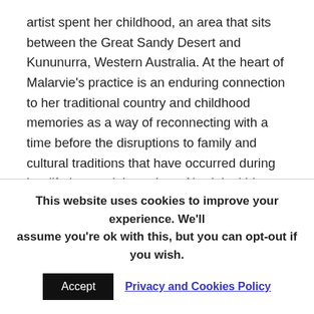artist spent her childhood, an area that sits between the Great Sandy Desert and Kununurra, Western Australia. At the heart of Malarvie's practice is an enduring connection to her traditional country and childhood memories as a way of reconnecting with a time before the disruptions to family and cultural traditions that have occurred during her lifetime and throughout Aboriginal history. Painting in a palette of soft earth ochres, including natural pale pinks, black, greys and milky white, Malarvie translates the language of place into energetic gestures of abstraction. Layers of circle motifs in the Luga paintings represent a land that is flooded and dry by turns, leaving behind the
This website uses cookies to improve your experience. We'll assume you're ok with this, but you can opt-out if you wish.
Accept  Privacy and Cookies Policy